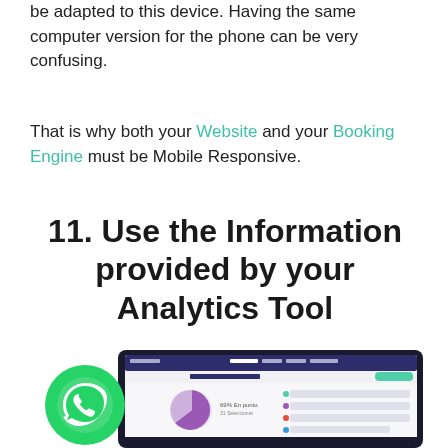be adapted to this device. Having the same computer version for the phone can be very confusing.
That is why both your Website and your Booking Engine must be Mobile Responsive.
11. Use the Information provided by your Analytics Tool
[Figure (screenshot): Screenshot of an analytics dashboard interface showing a pie chart and data metrics, with a green WhatsApp chat button overlaid in the bottom-left corner. The dashboard header shows navigation items and a date range. A purple/pink pie chart is visible with percentage labels.]